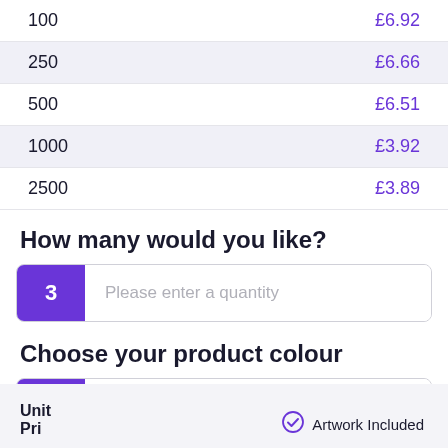| Quantity | Price |
| --- | --- |
| 100 | £6.92 |
| 250 | £6.66 |
| 500 | £6.51 |
| 1000 | £3.92 |
| 2500 | £3.89 |
How many would you like?
3  Please enter a quantity
Choose your product colour
4  Product colour: Please choose
Unit Pri...  Artwork Included